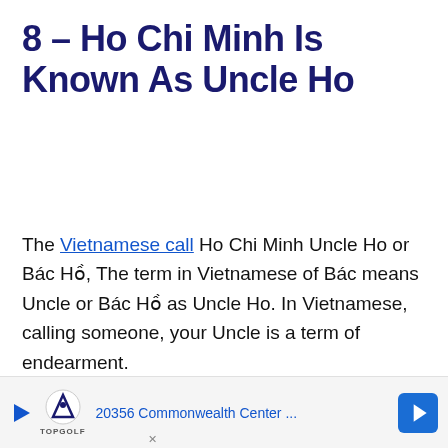8 – Ho Chi Minh Is Known As Uncle Ho
The Vietnamese call Ho Chi Minh Uncle Ho or Bác Hồ, The term in Vietnamese of Bác means Uncle or Bác Hồ as Uncle Ho. In Vietnamese, calling someone, your Uncle is a term of endearment.
The Vietnamese see Ho Chi Minh or Uncle Ho as the father figure of modern-day Vietnam. Uncle Ho shows
[Figure (other): Advertisement banner for TopGolf showing '20356 Commonwealth Center ...' with TopGolf logo and a navigation arrow icon]